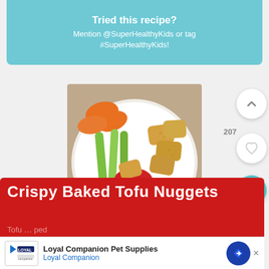Tried this recipe? Mention @SuperHealthyKids or tag #SuperHealthyKids!
[Figure (photo): Plate with crispy baked tofu nuggets, celery sticks, carrot slices, and a small bowl of ketchup dipping sauce]
Crispy Baked Tofu Nuggets
Tofu ... ped
[Figure (other): Advertisement banner: Loyal Companion Pet Supplies - Loyal Companion]